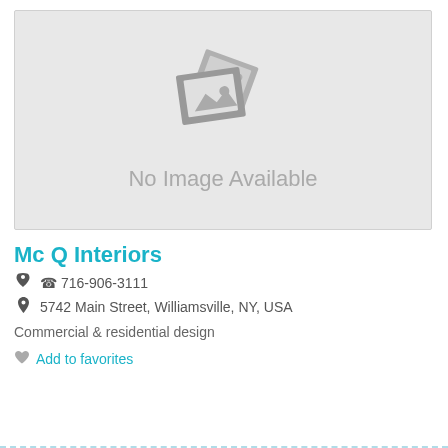[Figure (photo): No image available placeholder with grey background and generic image icons]
Mc Q Interiors
716-906-3111
5742 Main Street, Williamsville, NY, USA
Commercial & residential design
Add to favorites